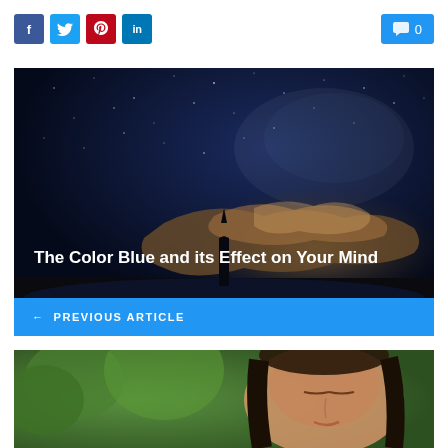[Figure (other): Social share buttons: Facebook (blue), Twitter (light blue), Pinterest (red), LinkedIn (blue)]
[Figure (other): Comment count button showing 0 comments]
[Figure (photo): Night sky with stars, dramatic clouds, and a silhouette of a tower/spire. Text overlay reads 'The Color Blue and its Effect on Your Mind'. Blue bar at bottom with 'PREVIOUS ARTICLE' navigation.]
[Figure (photo): Close-up photo of a young woman with eyes closed, peaceful expression, blurred green trees in background. reCAPTCHA badge overlaid in bottom-right corner.]